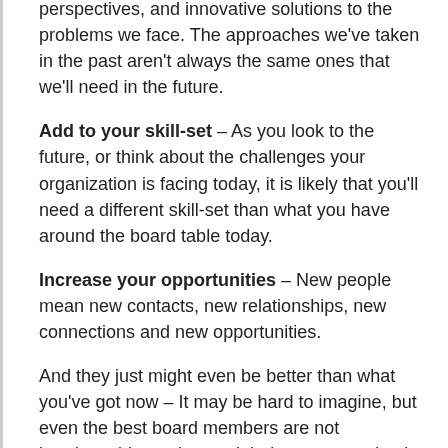perspectives, and innovative solutions to the problems we face. The approaches we've taken in the past aren't always the same ones that we'll need in the future.
Add to your skill-set – As you look to the future, or think about the challenges your organization is facing today, it is likely that you'll need a different skill-set than what you have around the board table today.
Increase your opportunities – New people mean new contacts, new relationships, new connections and new opportunities.
And they just might even be better than what you've got now – It may be hard to imagine, but even the best board members are not irreplaceable, and you might be very surprised by just how wonderful that new board member or leader will be.
Yes, it is hard work replacing board members, and